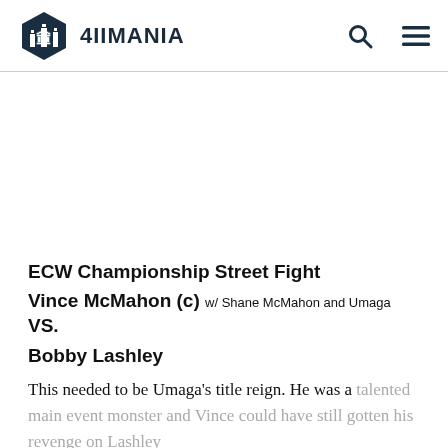4IIMANIA
[Figure (other): Advertisement placeholder area (blank white space)]
ECW Championship Street Fight
Vince McMahon (c) w/ Shane McMahon and Umaga VS. Bobby Lashley
This needed to be Umaga's title reign. He was a talented main event monster and Vince could have still gotten his revenge on Lashley